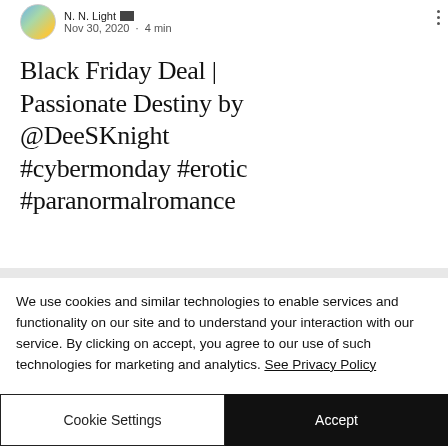N. N. Light  Nov 30, 2020 · 4 min
Black Friday Deal | Passionate Destiny by @DeeSKnight #cybermonday #erotic #paranormalromance
We use cookies and similar technologies to enable services and functionality on our site and to understand your interaction with our service. By clicking on accept, you agree to our use of such technologies for marketing and analytics. See Privacy Policy